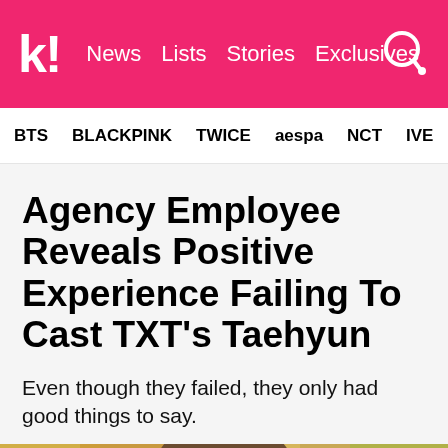k! News Lists Stories Exclusives
BTS BLACKPINK TWICE aespa NCT IVE Girls'
Agency Employee Reveals Positive Experience Failing To Cast TXT's Taehyun
Even though they failed, they only had good things to say.
[Figure (photo): Photo of TXT's Taehyun, close-up portrait with brown hair against autumn foliage background]